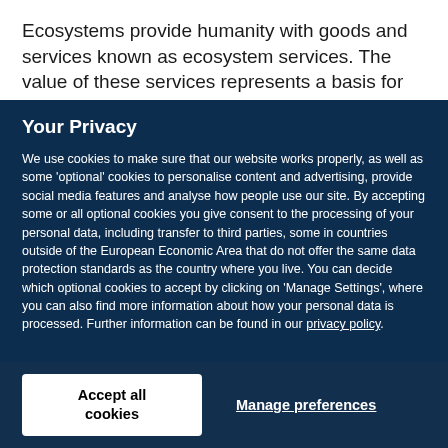Ecosystems provide humanity with goods and services known as ecosystem services. The value of these services represents a basis for political
Your Privacy
We use cookies to make sure that our website works properly, as well as some 'optional' cookies to personalise content and advertising, provide social media features and analyse how people use our site. By accepting some or all optional cookies you give consent to the processing of your personal data, including transfer to third parties, some in countries outside of the European Economic Area that do not offer the same data protection standards as the country where you live. You can decide which optional cookies to accept by clicking on 'Manage Settings', where you can also find more information about how your personal data is processed. Further information can be found in our privacy policy.
Accept all cookies
Manage preferences